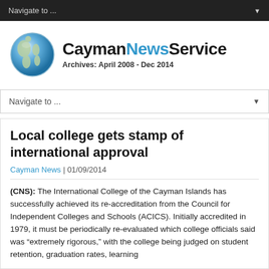Navigate to ...
[Figure (logo): Cayman News Service logo with globe icon and text 'CaymanNewsService Archives: April 2008 - Dec 2014']
Navigate to ...
Local college gets stamp of international approval
Cayman News | 01/09/2014
(CNS): The International College of the Cayman Islands has successfully achieved its re-accreditation from the Council for Independent Colleges and Schools (ACICS). Initially accredited in 1979, it must be periodically re-evaluated which college officials said was "extremely rigorous," with the college being judged on student retention, graduation rates, learning